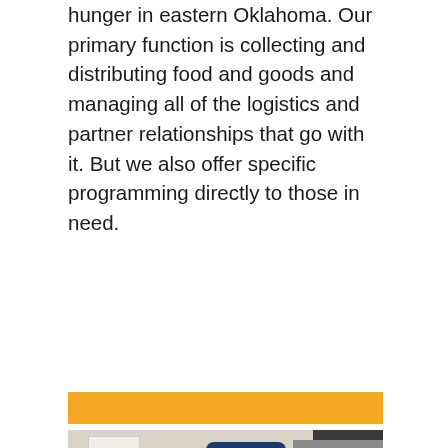hunger in eastern Oklahoma. Our primary function is collecting and distributing food and goods and managing all of the logistics and partner relationships that go with it. But we also offer specific programming directly to those in need.
[Figure (photo): An orange horizontal banner/bar, followed by a photograph of a chef in a blue uniform and blue cap, smiling while portioning food into trays in a commercial kitchen. Purple meal trays are lined up in the foreground.]